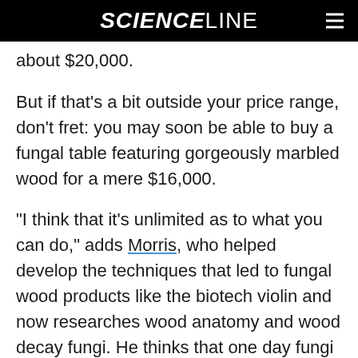SCIENCELINE
about $20,000.
But if that's a bit outside your price range, don't fret: you may soon be able to buy a fungal table featuring gorgeously marbled wood for a mere $16,000.
“I think that it’s unlimited as to what you can do,” adds Morris, who helped develop the techniques that led to fungal wood products like the biotech violin and now researches wood anatomy and wood decay fungi. He thinks that one day fungi could even be trained to write words by being manipulated to grow in specific patterns, much like